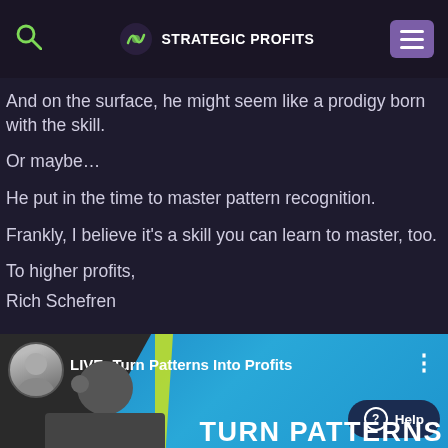Strategic Profits
And on the surface, he might seem like a prodigy born with the skill.
Or maybe…
He put in the time to master pattern recognition.
Frankly, I believe it's a skill you can learn to master, too.
To higher profits,
Rich Schefren
[Figure (screenshot): Banner promoting a live event: LIVE: Turn Patterns Into Profits, with a man's photo on dark background, blue gradient, Help button, and TURN PATTERNS text in bold white.]